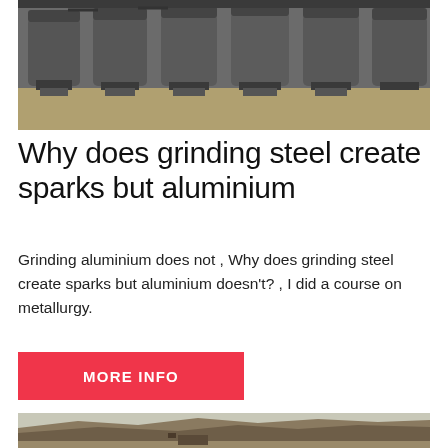[Figure (photo): Industrial factory floor with multiple large grey cylindrical grinding mill machines lined up in a row]
Why does grinding steel create sparks but aluminium
Grinding aluminium does not , Why does grinding steel create sparks but aluminium doesn't? , I did a course on metallurgy.
MORE INFO
[Figure (photo): Open-pit quarry or mining site with rocky hillside terrain and machinery at the bottom]